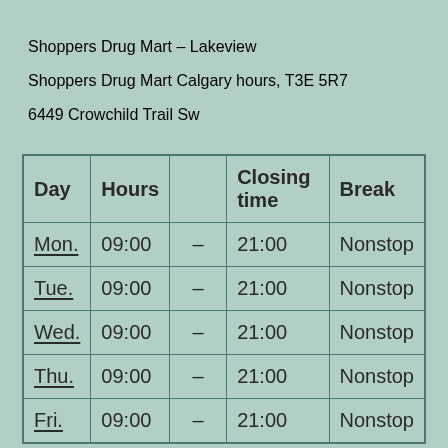Shoppers Drug Mart – Lakeview
Shoppers Drug Mart Calgary hours, T3E 5R7
6449 Crowchild Trail Sw
| Day | Hours |  | Closing time | Break |
| --- | --- | --- | --- | --- |
| Mon. | 09:00 | – | 21:00 | Nonstop |
| Tue. | 09:00 | – | 21:00 | Nonstop |
| Wed. | 09:00 | – | 21:00 | Nonstop |
| Thu. | 09:00 | – | 21:00 | Nonstop |
| Fri. | 09:00 | – | 21:00 | Nonstop |